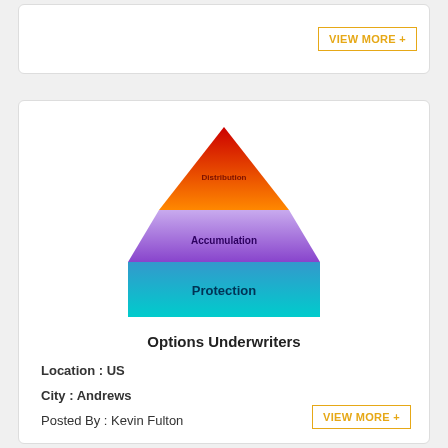[Figure (infographic): A three-tier pyramid diagram with Distribution (red/orange gradient) at top, Accumulation (purple gradient) in middle, and Protection (blue/teal gradient) at the base.]
Options Underwriters
Location : US
City : Andrews
Posted By : Kevin Fulton